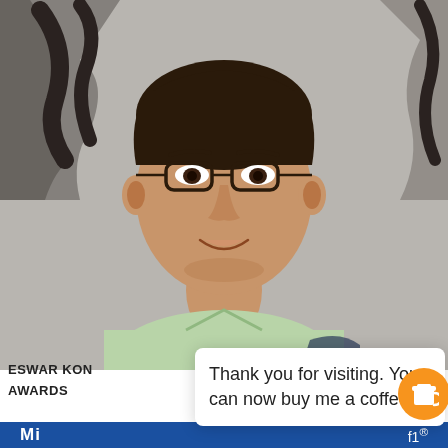[Figure (photo): Headshot photo of a young South Asian man with short dark hair wearing glasses (dark frames) and a light green polo shirt, smiling slightly, with a dark graffiti-style background behind him.]
ESWAR KON
AWARDS
Thank you for visiting. You can now buy me a coffee!
[Figure (illustration): Orange circular button with a white coffee cup icon (takeaway cup with lid).]
Mi
f1®